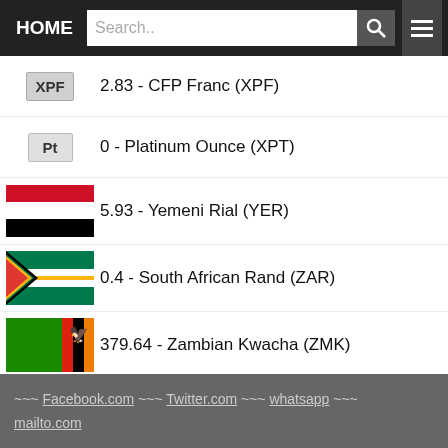HOME | Search..
2.83 - CFP Franc (XPF)
0 - Platinum Ounce (XPT)
5.93 - Yemeni Rial (YER)
0.4 - South African Rand (ZAR)
379.64 - Zambian Kwacha (ZMK)
0.38 - Zambian Kwacha (ZMW)
8.57 - Zimbabwean Dollar (ZWD)
Convert 1000 IRR to PKR - currency converter - free online converters
~~~ Facebook.com ~~~ Twitter.com ~~~ whatsapp ~~~ mailto.com